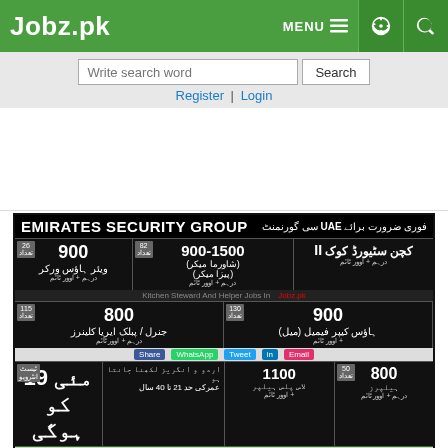Jobz.pk
Write search word | Search
Register | Login
[Figure (screenshot): Job advertisement for Emirates Security Group UAE in Urdu/English, showing various job positions with salaries ranging from 800-1500, including Kitchen Steward, Housekeeping, General/Public Area Cleaners, Helpers, and other positions. Advertisement includes footer with contact information and a bottom strip mentioning CNG and locations.]